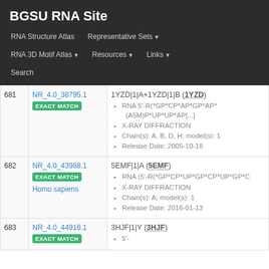BGSU RNA Site
RNA Structure Atlas | Representative Sets | RNA 3D Motif Atlas | Resources | Links | Search
| # | ID | Structure Info |
| --- | --- | --- |
| 681 | NR_4.0_38795.1 [EXACT MATCH] | 1YZD|1|A+1YZD|1|B (1YZD)
• RNA 5'-R(*GP*CP*AP*GP*AP*(A5M)P*UP*UP*AP[...]
• X-RAY DIFFRACTION
• Chain(s): A, B, D, H; model(s): 1
• Release Date: 2005-10-18 |
| 682 | NR_4.0_43988.1 [EXACT MATCH] Homo sapiens | 5EMF|1|A (5EMF)
• RNA (5'-R(*GP*CP*UP*GP*CP*UP*GP*C...
• X-RAY DIFFRACTION
• Chain(s): A; model(s): 1
• Release Date: 2016-01-13 |
| 683 | NR_4.0_44916.1 [EXACT MATCH] | 3HJF|1|Y (3HJF)
• 5'- |